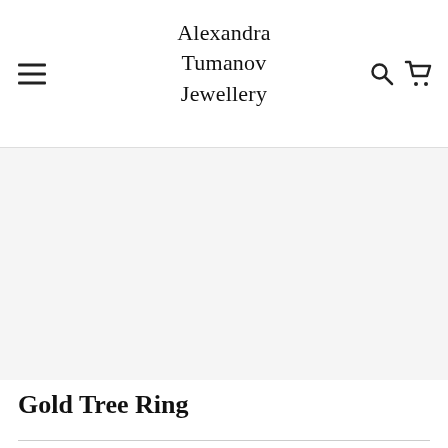Alexandra Tumanov Jewellery
[Figure (photo): Product image area — blank/light grey placeholder for Gold Tree Ring product photo]
Gold Tree Ring